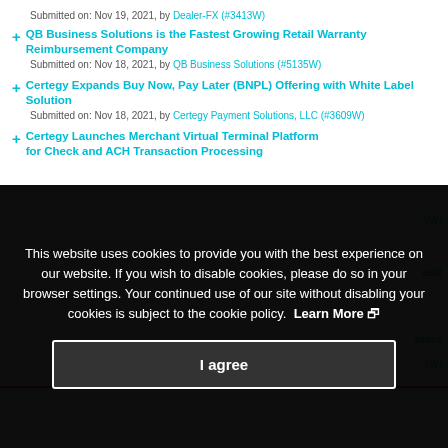Submitted on: Nov 19, 2021, by Dealer-FX (#3413W)
QB Business Solutions is the Fastest Growing Retail Warranty Reimbursement Company
Submitted on: Nov 18, 2021, by QB Business Solutions (#5135W)
Certegy Expands Buy Now, Pay Later (BNPL) Offering with White Label Solution
Submitted on: Nov 18, 2021, by Certegy Payment Solutions, LLC (#3609W)
Certegy Launches Merchant Virtual Terminal Platform for Check and ACH Transaction Processing
This website uses cookies to provide you with the best experience on our website. If you wish to disable cookies, please do so in your browser settings. Your continued use of our site without disabling your cookies is subject to the cookie policy. Learn More
I agree